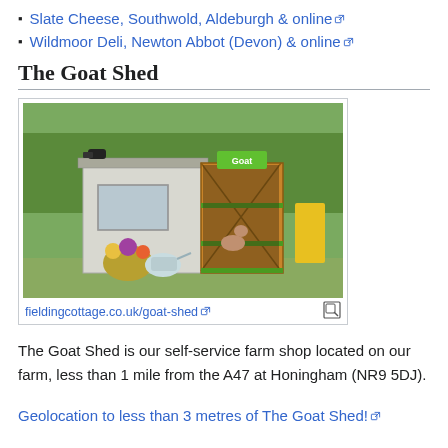Slate Cheese, Southwold, Aldeburgh & online
Wildmoor Deli, Newton Abbot (Devon) & online
The Goat Shed
[Figure (photo): A small white farm shop shed with wooden door open, a goat inside, flowers and watering can in front, green sign reading 'Goat' above door, security camera on roof. Rural setting with green lawn and trees.]
fieldingcottage.co.uk/goat-shed
The Goat Shed is our self-service farm shop located on our farm, less than 1 mile from the A47 at Honingham (NR9 5DJ).
Geolocation to less than 3 metres of The Goat Shed!